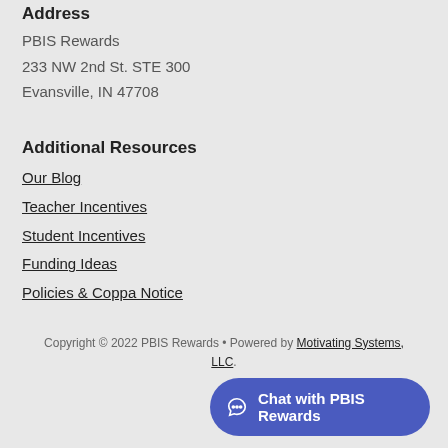Address
PBIS Rewards
233 NW 2nd St. STE 300
Evansville, IN 47708
Additional Resources
Our Blog
Teacher Incentives
Student Incentives
Funding Ideas
Policies & Coppa Notice
Copyright © 2022 PBIS Rewards • Powered by Motivating Systems, LLC.
[Figure (other): Chat button widget: 'Chat with PBIS Rewards' with speech bubble icon on dark blue rounded button]